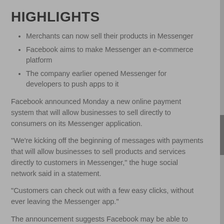HIGHLIGHTS
Merchants can now sell their products in Messenger
Facebook aims to make Messenger an e-commerce platform
The company earlier opened Messenger for developers to push apps to it
Facebook announced Monday a new online payment system that will allow businesses to sell directly to consumers on its Messenger application.
"We're kicking off the beginning of messages with payments that will allow businesses to sell products and services directly to customers in Messenger," the huge social network said in a statement.
"Customers can check out with a few easy clicks, without ever leaving the Messenger app."
The announcement suggests Facebook may be able to monetize its free messaging application, which is used by over a billion people, by making it an e-commerce platform.